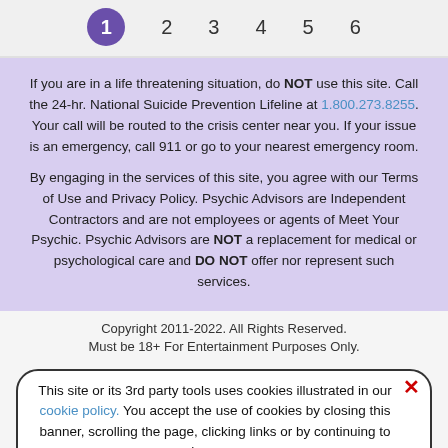[Figure (infographic): Step progress bar with numbered steps 1 through 6, where step 1 is highlighted in a purple circle]
If you are in a life threatening situation, do NOT use this site. Call the 24-hr. National Suicide Prevention Lifeline at 1.800.273.8255. Your call will be routed to the crisis center near you. If your issue is an emergency, call 911 or go to your nearest emergency room.
By engaging in the services of this site, you agree with our Terms of Use and Privacy Policy. Psychic Advisors are Independent Contractors and are not employees or agents of Meet Your Psychic. Psychic Advisors are NOT a replacement for medical or psychological care and DO NOT offer nor represent such services.
Copyright 2011-2022. All Rights Reserved. Must be 18+ For Entertainment Purposes Only.
This site or its 3rd party tools uses cookies illustrated in our cookie policy. You accept the use of cookies by closing this banner, scrolling the page, clicking links or by continuing to browse.